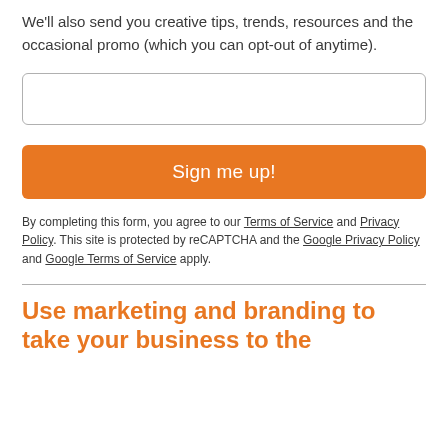We'll also send you creative tips, trends, resources and the occasional promo (which you can opt-out of anytime).
[email input field]
Sign me up!
By completing this form, you agree to our Terms of Service and Privacy Policy. This site is protected by reCAPTCHA and the Google Privacy Policy and Google Terms of Service apply.
Use marketing and branding to take your business to the